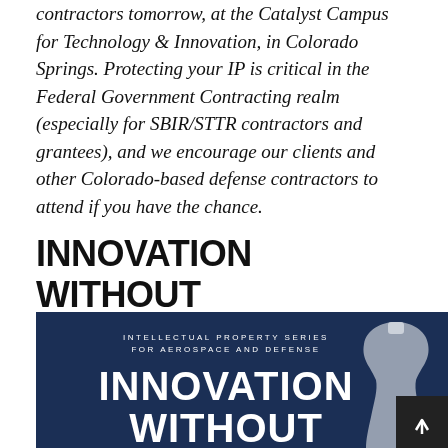contractors tomorrow, at the Catalyst Campus for Technology & Innovation, in Colorado Springs. Protecting your IP is critical in the Federal Government Contracting realm (especially for SBIR/STTR contractors and grantees), and we encourage our clients and other Colorado-based defense contractors to attend if you have the chance.
INNOVATION WITHOUT PROTECTION IS PHILANTHROPY.
[Figure (illustration): Dark navy blue book cover image for 'Intellectual Property Series for Aerospace and Defense' showing the text 'INNOVATION WITHOUT' in large white bold letters, with a partial image of a white vase/urn on the right side, and a dark scroll-to-top button in the bottom right corner.]